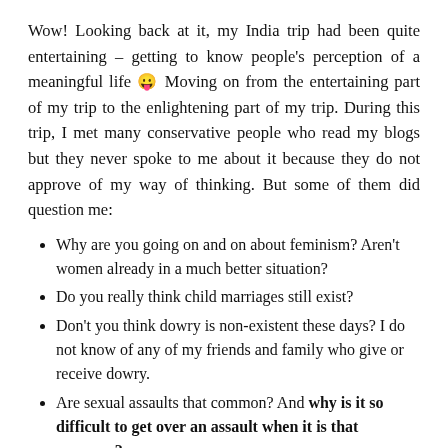Wow! Looking back at it, my India trip had been quite entertaining – getting to know people's perception of a meaningful life 😛 Moving on from the entertaining part of my trip to the enlightening part of my trip. During this trip, I met many conservative people who read my blogs but they never spoke to me about it because they do not approve of my way of thinking. But some of them did question me:
Why are you going on and on about feminism? Aren't women already in a much better situation?
Do you really think child marriages still exist?
Don't you think dowry is non-existent these days? I do not know of any of my friends and family who give or receive dowry.
Are sexual assaults that common? And why is it so difficult to get over an assault when it is that common?